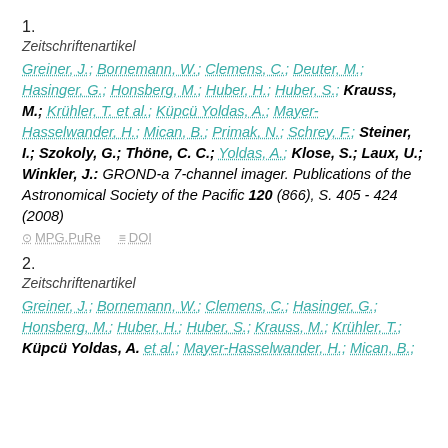1.
Zeitschriftenartikel
Greiner, J.; Bornemann, W.; Clemens, C.; Deuter, M.; Hasinger, G.; Honsberg, M.; Huber, H.; Huber, S.; Krauss, M.; Krühler, T. et al.; Küpcü Yoldas, A.; Mayer-Hasselwander, H.; Mican, B.; Primak, N.; Schrey, F.; Steiner, I.; Szokoly, G.; Thöne, C. C.; Yoldas, A.; Klose, S.; Laux, U.; Winkler, J.: GROND-a 7-channel imager. Publications of the Astronomical Society of the Pacific 120 (866), S. 405 - 424 (2008)
MPG.PuRe   DOI
2.
Zeitschriftenartikel
Greiner, J.; Bornemann, W.; Clemens, C.; Hasinger, G.; Honsberg, M.; Huber, H.; Huber, S.; Krauss, M.; Krühler, T.; Küpcü Yoldas, A. et al.; Mayer-Hasselwander, H.; Mican, B.;